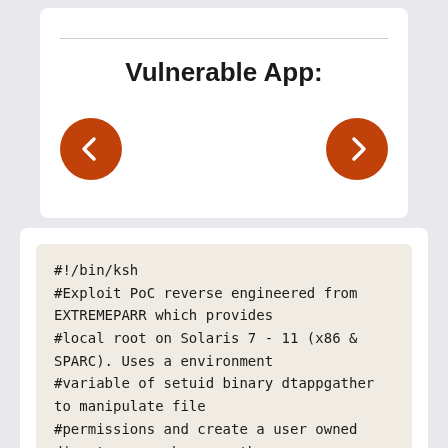Vulnerable App:
[Figure (other): Navigation buttons: left arrow (back) and right arrow (forward), orange circular buttons]
#!/bin/ksh
#Exploit PoC reverse engineered from EXTREMEPARR which provides
#local root on Solaris 7 - 11 (x86 & SPARC). Uses a environment
#variable of setuid binary dtappgather to manipulate file
#permissions and create a user owned directory anywhere on the
#system (as root). Can then add a shared